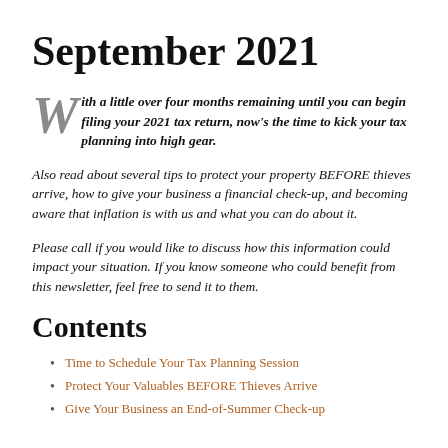September 2021
With a little over four months remaining until you can begin filing your 2021 tax return, now’s the time to kick your tax planning into high gear.
Also read about several tips to protect your property BEFORE thieves arrive, how to give your business a financial check-up, and becoming aware that inflation is with us and what you can do about it.
Please call if you would like to discuss how this information could impact your situation. If you know someone who could benefit from this newsletter, feel free to send it to them.
Contents
Time to Schedule Your Tax Planning Session
Protect Your Valuables BEFORE Thieves Arrive
Give Your Business an End-of-Summer Check-up